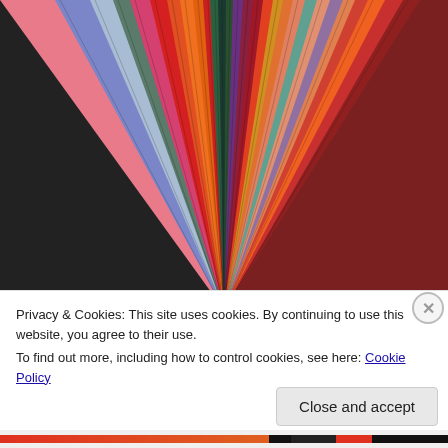[Figure (photo): Close-up photograph of colorful paper sheets fanned out in a radial pattern, showing vivid colors including red, orange, pink, blue, green, purple, and teal.]
Privacy & Cookies: This site uses cookies. By continuing to use this website, you agree to their use.
To find out more, including how to control cookies, see here: Cookie Policy
Close and accept